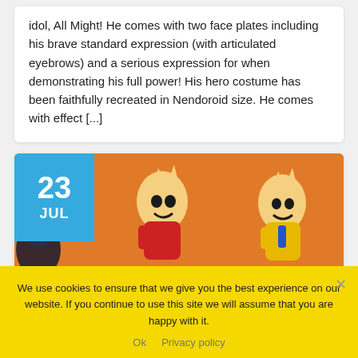idol, All Might! He comes with two face plates including his brave standard expression (with articulated eyebrows) and a serious expression for when demonstrating his full power! His hero costume has been faithfully recreated in Nendoroid size. He comes with effect [...]
[Figure (photo): Date badge showing '23 JUL' in blue on the left, and an orange-background image of All Might Funko Pop figures on the right]
We use cookies to ensure that we give you the best experience on our website. If you continue to use this site we will assume that you are happy with it.
Ok   Privacy policy